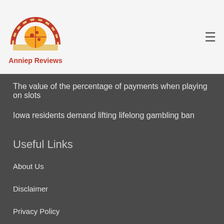Anniep Reviews
The value of the percentage of payments when playing on slots
Iowa residents demand lifting lifelong gambling ban
Useful Links
About Us
Disclaimer
Privacy Policy
Home